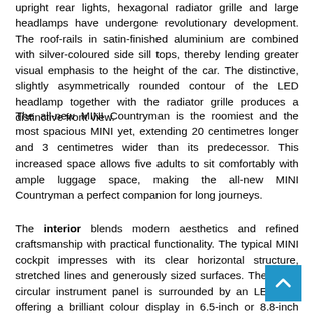upright rear lights, hexagonal radiator grille and large headlamps have undergone revolutionary development. The roof-rails in satin-finished aluminium are combined with silver-coloured side sill tops, thereby lending greater visual emphasis to the height of the car. The distinctive, slightly asymmetrically rounded contour of the LED headlamp together with the radiator grille produces a distinctive front view.
The all-new MINI Countryman is the roomiest and the most spacious MINI yet, extending 20 centimetres longer and 3 centimetres wider than its predecessor. This increased space allows five adults to sit comfortably with ample luggage space, making the all-new MINI Countryman a perfect companion for long journeys.
The interior blends modern aesthetics and refined craftsmanship with practical functionality. The typical MINI cockpit impresses with its clear horizontal structure, stretched lines and generously sized surfaces. The iconic circular instrument panel is surrounded by an LED ring offering a brilliant colour display in 6.5-inch or 8.8-inch touchscreen. The